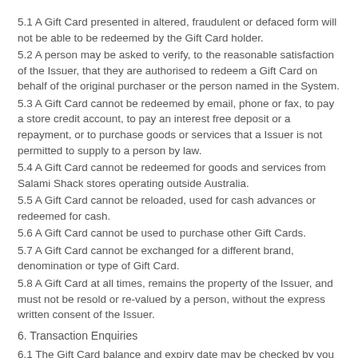5.1 A Gift Card presented in altered, fraudulent or defaced form will not be able to be redeemed by the Gift Card holder.
5.2 A person may be asked to verify, to the reasonable satisfaction of the Issuer, that they are authorised to redeem a Gift Card on behalf of the original purchaser or the person named in the System.
5.3 A Gift Card cannot be redeemed by email, phone or fax, to pay a store credit account, to pay an interest free deposit or a repayment, or to purchase goods or services that a Issuer is not permitted to supply to a person by law.
5.4 A Gift Card cannot be redeemed for goods and services from Salami Shack stores operating outside Australia.
5.5 A Gift Card cannot be reloaded, used for cash advances or redeemed for cash.
5.6 A Gift Card cannot be used to purchase other Gift Cards.
5.7 A Gift Card cannot be exchanged for a different brand, denomination or type of Gift Card.
5.8 A Gift Card at all times, remains the property of the Issuer, and must not be resold or re-valued by a person, without the express written consent of the Issuer.
6. Transaction Enquiries
6.1 The Gift Card balance and expiry date may be checked by you at any time by:
(b) visiting Salami Shack online (salamishack.com.au)
(c) contacting the Issuer on 1300618837.
6.2 The System will be conclusive evidence of the balance, history and